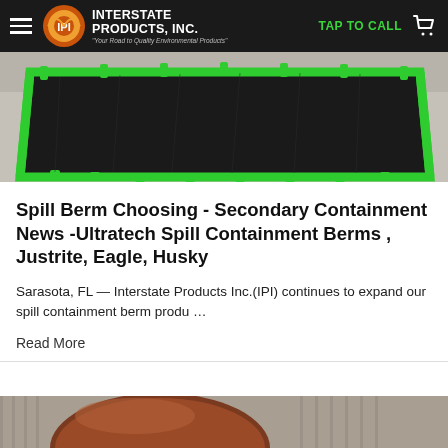Interstate Products, Inc. — TAP TO CALL
[Figure (photo): Photo of a black spill containment berm with green edges laid out on a concrete surface, viewed from an angle.]
Spill Berm Choosing - Secondary Containment News -Ultratech Spill Containment Berms , Justrite, Eagle, Husky
Sarasota, FL — Interstate Products Inc.(IPI) continues to expand our spill containment berm produ …
Read More
[Figure (photo): Photo of a large brown/rust-colored cylindrical industrial tank in front of a corrugated metal building.]